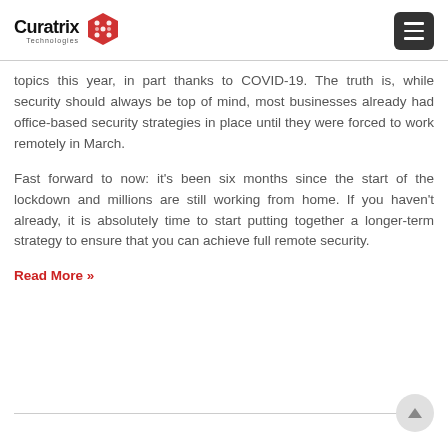Curatrix Technologies
topics this year, in part thanks to COVID-19. The truth is, while security should always be top of mind, most businesses already had office-based security strategies in place until they were forced to work remotely in March.
Fast forward to now: it's been six months since the start of the lockdown and millions are still working from home. If you haven't already, it is absolutely time to start putting together a longer-term strategy to ensure that you can achieve full remote security.
Read More »